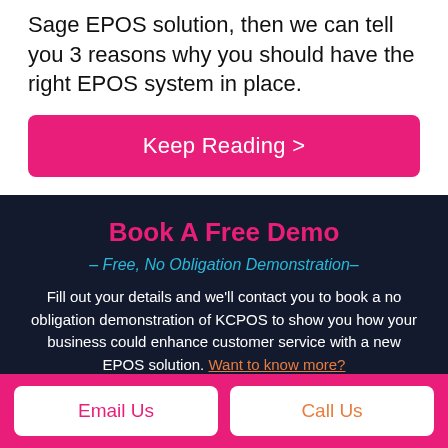Sage EPOS solution, then we can tell you 3 reasons why you should have the right EPOS system in place.
Keep Reading >
Book A Free Demo
– Free, No Obligation Demonstration–
Fill out your details and we'll contact you to book a no obligation demonstration of KCPOS to show you how your business could enhance customer service with a new EPOS solution. Want to know more?
Name *
Email Us
Call Us